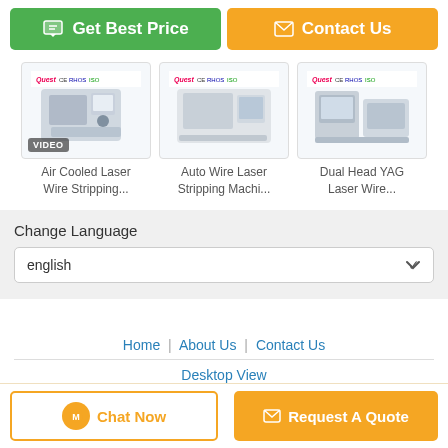[Figure (other): Two call-to-action buttons: 'Get Best Price' (green) and 'Contact Us' (orange)]
[Figure (other): Product thumbnail: Air Cooled Laser Wire Stripping machine with VIDEO badge]
Air Cooled Laser Wire Stripping...
[Figure (other): Product thumbnail: Auto Wire Laser Stripping Machine]
Auto Wire Laser Stripping Machi...
[Figure (other): Product thumbnail: Dual Head YAG Laser Wire machine]
Dual Head YAG Laser Wire...
Change Language
english
Home | About Us | Contact Us
Desktop View
Copyright © 2016 - 2022 questtlaser.com. All rights reserved.
[Figure (other): Bottom buttons: Chat Now and Request A Quote]